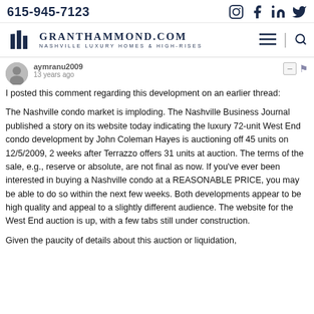615-945-7123 | GrantHammond.com — Nashville Luxury Homes & High-Rises
aymranu2009
13 years ago
I posted this comment regarding this development on an earlier thread:
The Nashville condo market is imploding. The Nashville Business Journal published a story on its website today indicating the luxury 72-unit West End condo development by John Coleman Hayes is auctioning off 45 units on 12/5/2009, 2 weeks after Terrazzo offers 31 units at auction. The terms of the sale, e.g., reserve or absolute, are not final as now. If you've ever been interested in buying a Nashville condo at a REASONABLE PRICE, you may be able to do so within the next few weeks. Both developments appear to be high quality and appeal to a slightly different audience. The website for the West End auction is up, with a few tabs still under construction.
Given the paucity of details about this auction or liquidation,